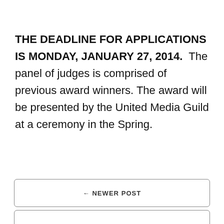THE DEADLINE FOR APPLICATIONS IS MONDAY, JANUARY 27, 2014. The panel of judges is comprised of previous award winners. The award will be presented by the United Media Guild at a ceremony in the Spring.
← NEWER POST